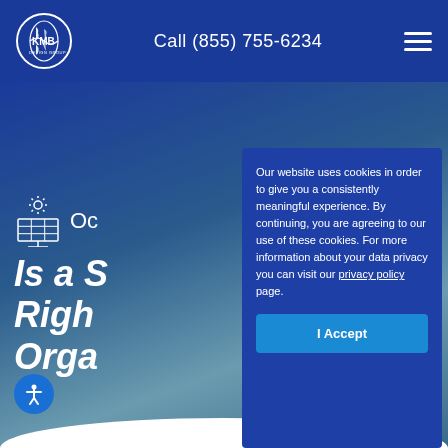KMB Design Group | Call (855) 755-6234
[Figure (logo): KMB Design Group logo - globe with North/South America outline and KMB text]
Call (855) 755-6234
[Figure (illustration): Hamburger menu icon (three horizontal lines)]
[Figure (illustration): Solar panel icon with sun rays above it, followed by truncated date 'Oct']
Is a S... Right... Orga...
Our website uses cookies in order to give you a consistently meaningful experience. By continuing, you are agreeing to our use of these cookies. For more information about your data privacy you can visit our privacy policy page.
I Accept